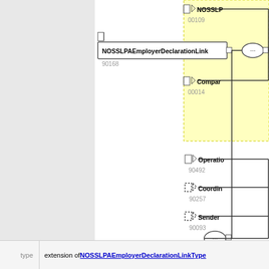[Figure (engineering-diagram): UML/schema diagram showing NOSSLPAEmployerDeclarationLink node (90168) connected via a sequence connector (ellipse with '...') to multiple child nodes: NOSSLP (00109), Compar (00014) in yellow highlighted area, and a second connector linking to Operatio (90492), Coordin (90257, dashed), Sender (90093, dashed) nodes on the right side. The diagram is partially cropped on the right.]
type    extension of NOSSLPAEmployerDeclarationLinkType